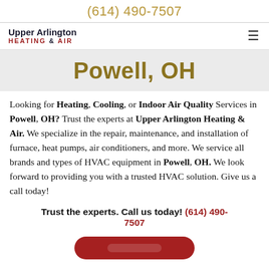(614) 490-7507
[Figure (logo): Upper Arlington Heating & Air logo with hamburger menu icon]
Powell, OH
Looking for Heating, Cooling, or Indoor Air Quality Services in Powell, OH? Trust the experts at Upper Arlington Heating & Air. We specialize in the repair, maintenance, and installation of furnace, heat pumps, air conditioners, and more. We service all brands and types of HVAC equipment in Powell, OH. We look forward to providing you with a trusted HVAC solution. Give us a call today!
Trust the experts. Call us today! (614) 490-7507
[Figure (other): Red rounded button partially visible at bottom of page]